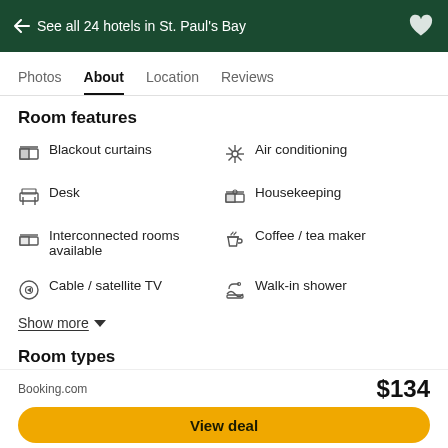← See all 24 hotels in St. Paul's Bay
Photos | About | Location | Reviews
Room features
Blackout curtains
Air conditioning
Desk
Housekeeping
Interconnected rooms available
Coffee / tea maker
Cable / satellite TV
Walk-in shower
Show more
Room types
City view
Non-smoking rooms
Booking.com  $134  View deal